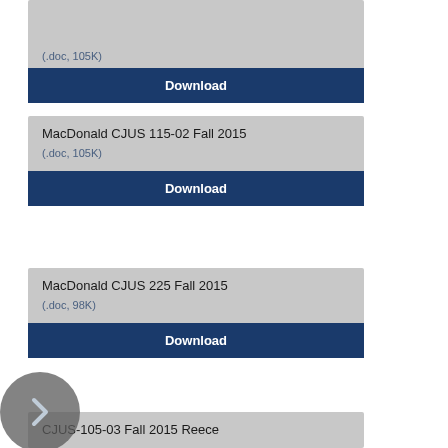(.doc, 105K)
Download
MacDonald CJUS 115-02 Fall 2015
(.doc, 105K)
Download
MacDonald CJUS 225 Fall 2015
(.doc, 98K)
Download
CJUS-105-03 Fall 2015 Reece